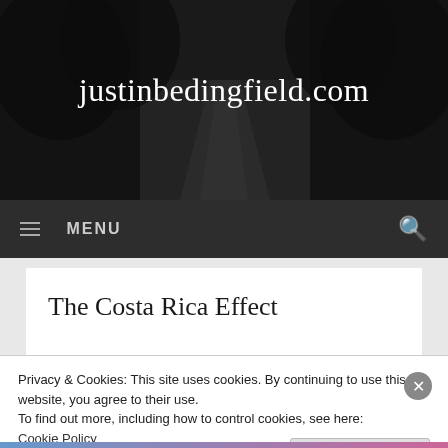justinbedingfield.com
MENU
The Costa Rica Effect
[Figure (photo): Partial view of a photograph with blue sky and landscape, cropped within the article card]
Privacy & Cookies: This site uses cookies. By continuing to use this website, you agree to their use.
To find out more, including how to control cookies, see here: Cookie Policy
Close and accept